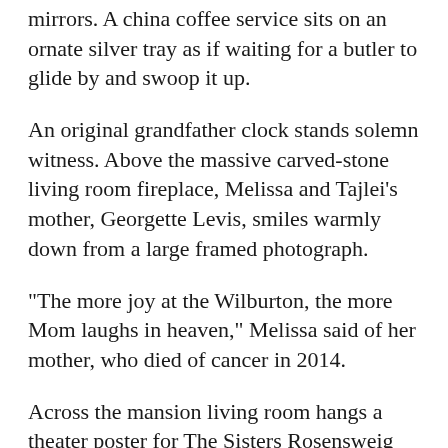mirrors. A china coffee service sits on an ornate silver tray as if waiting for a butler to glide by and swoop it up.
An original grandfather clock stands solemn witness. Above the massive carved-stone living room fireplace, Melissa and Tajlei's mother, Georgette Levis, smiles warmly down from a large framed photograph.
"The more joy at the Wilburton, the more Mom laughs in heaven," Melissa said of her mother, who died of cancer in 2014.
Across the mansion living room hangs a theater poster for The Sisters Rosensweig by Georgette's sister, the late Tony Award- and Pulitzer Prize-winning playwright Wendy Wasserstein.